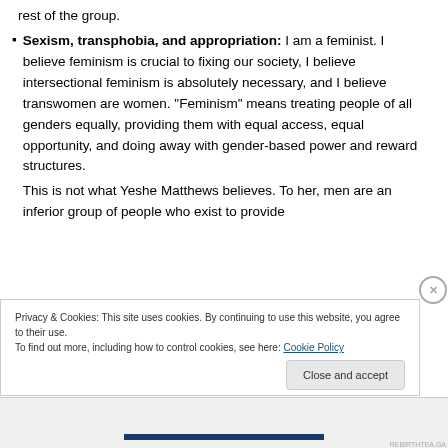rest of the group.
Sexism, transphobia, and appropriation: I am a feminist. I believe feminism is crucial to fixing our society, I believe intersectional feminism is absolutely necessary, and I believe transwomen are women. “Feminism” means treating people of all genders equally, providing them with equal access, equal opportunity, and doing away with gender-based power and reward structures.
This is not what Yeshe Matthews believes. To her, men are an inferior group of people who exist to provide
Privacy & Cookies: This site uses cookies. By continuing to use this website, you agree to their use.
To find out more, including how to control cookies, see here: Cookie Policy
Close and accept